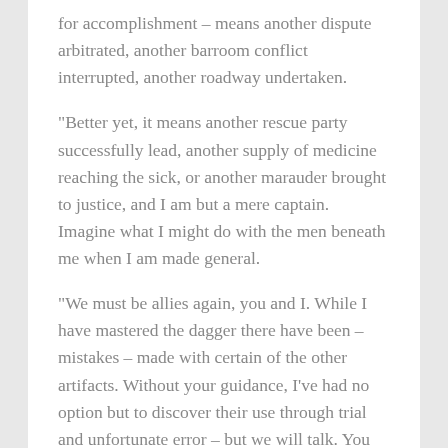for accomplishment – means another dispute arbitrated, another barroom conflict interrupted, another roadway undertaken.
“Better yet, it means another rescue party successfully lead, another supply of medicine reaching the sick, or another marauder brought to justice, and I am but a mere captain. Imagine what I might do with the men beneath me when I am made general.
“We must be allies again, you and I. While I have mastered the dagger there have been – mistakes – made with certain of the other artifacts. Without your guidance, I’ve had no option but to discover their use through trial and unfortunate error – but we will talk. You will teach me, and, together, we will bring the king’s rule to this land of rustics and drunks.”
Realizing it was only a supposed familiarity with The Eremite’s relics – knowledge he did not have – which had kept him alive thus far, Thomas was content to again